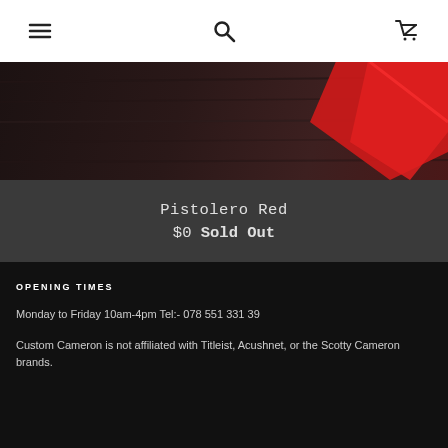[Navigation bar with hamburger menu, search icon, and cart icon]
[Figure (photo): Dark wood-grain background with a red diagonal stripe/object in upper right corner]
Pistolero Red
$0 Sold Out
OPENING TIMES
Monday to Friday 10am-4pm Tel:- 078 551 331 39
Custom Cameron is not affiliated with Titleist, Acushnet, or the Scotty Cameron brands.